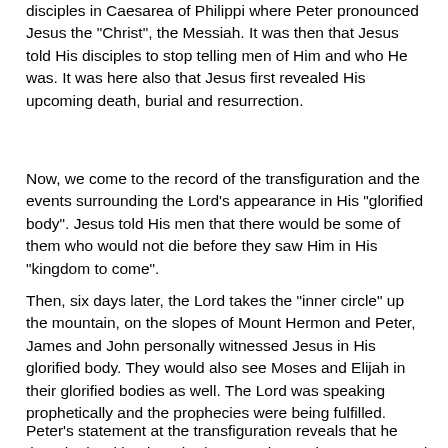disciples in Caesarea of Philippi where Peter pronounced Jesus the "Christ", the Messiah. It was then that Jesus told His disciples to stop telling men of Him and who He was. It was here also that Jesus first revealed His upcoming death, burial and resurrection.
Now, we come to the record of the transfiguration and the events surrounding the Lord's appearance in His "glorified body". Jesus told His men that there would be some of them who would not die before they saw Him in His "kingdom to come".
Then, six days later, the Lord takes the "inner circle" up the mountain, on the slopes of Mount Hermon and Peter, James and John personally witnessed Jesus in His glorified body. They would also see Moses and Elijah in their glorified bodies as well. The Lord was speaking prophetically and the prophecies were being fulfilled.
Peter's statement at the transfiguration reveals that he thought the "kingdom" had come. That's why Peter wanted to